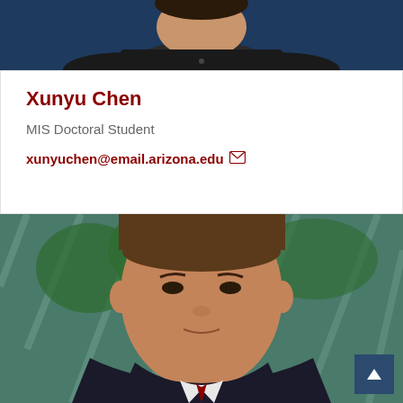[Figure (photo): Top portion of a person wearing a dark polo shirt, cropped at shoulders, against a dark blue background]
Xunyu Chen
MIS Doctoral Student
xunyuchen@email.arizona.edu
[Figure (photo): Professional headshot of an Asian man in a dark suit, photographed outdoors in front of a glass building with trees reflected]